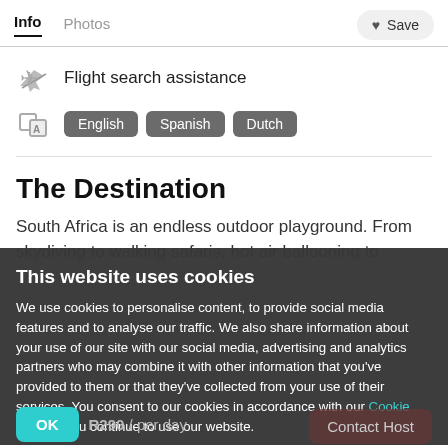Info  Photos  Save
Flight search assistance
English  Spanish  Dutch
The Destination
South Africa is an endless outdoor playground. From skydiving to walking safaris, hot air ballooning to river rafting – there's
This website uses cookies
We use cookies to personalise content, to provide social media features and to analyse our traffic. We also share information about your use of our site with our social media, advertising and analytics partners who may combine it with other information that you've provided to them or that they've collected from your use of their services. You consent to our cookies in accordance with our Cookie Policy if you continue to use our website.
OK
R290 / per day
Contact Host